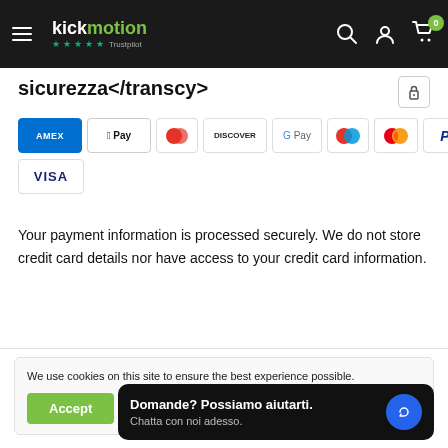kickmotion — navigation bar with hamburger menu, search, account, cart icons
sicurezza</transcy>
[Figure (logo): Payment method icons: Amex, Apple Pay, Diners, Discover, G Pay, Maestro, Mastercard, PayPal, Shopify Pay, Visa]
Your payment information is processed securely. We do not store credit card details nor have access to your credit card information.
We use cookies on this site to ensure the best experience possible.
Domande? Possiamo aiutarti. Chatta con noi adesso.